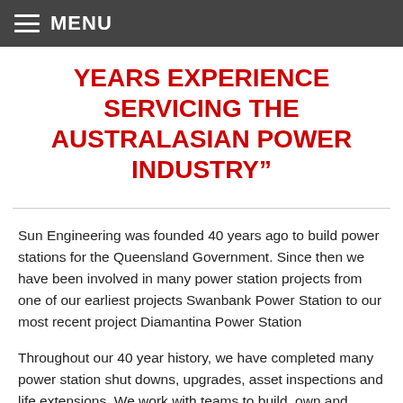MENU
YEARS EXPERIENCE SERVICING THE AUSTRALASIAN POWER INDUSTRY”
Sun Engineering was founded 40 years ago to build power stations for the Queensland Government. Since then we have been involved in many power station projects from one of our earliest projects Swanbank Power Station to our most recent project Diamantina Power Station
Throughout our 40 year history, we have completed many power station shut downs, upgrades, asset inspections and life extensions. We work with teams to build, own and operate assets